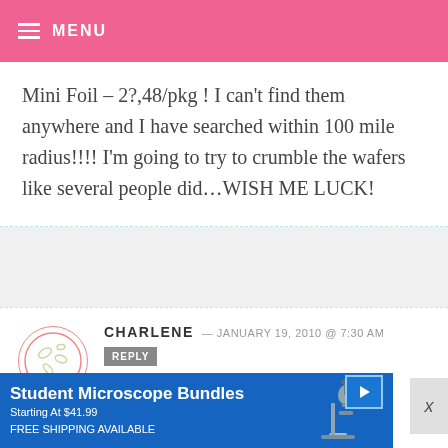MENU
Mini Foil – 2?,48/pkg ! I can't find them anywhere and I have searched within 100 mile radius!!!! I'm going to try to crumble the wafers like several people did…WISH ME LUCK!
CHARLENE — JANUARY 19, 2010 @ 7:30 AM
REPLY
amazing… i absolutely love these seeing as i love all things cheesecake…
[Figure (illustration): Advertisement banner for Student Microscope Bundles, Starting At $41.99, FREE SHIPPING AVAILABLE, with microscope image on right]